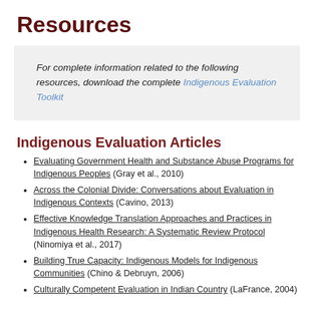Resources
For complete information related to the following resources, download the complete Indigenous Evaluation Toolkit
Indigenous Evaluation Articles
Evaluating Government Health and Substance Abuse Programs for Indigenous Peoples (Gray et al., 2010)
Across the Colonial Divide: Conversations about Evaluation in Indigenous Contexts (Cavino, 2013)
Effective Knowledge Translation Approaches and Practices in Indigenous Health Research: A Systematic Review Protocol (Ninomiya et al., 2017)
Building True Capacity: Indigenous Models for Indigenous Communities (Chino & Debruyn, 2006)
Culturally Competent Evaluation in Indian Country (LaFrance, 2004)